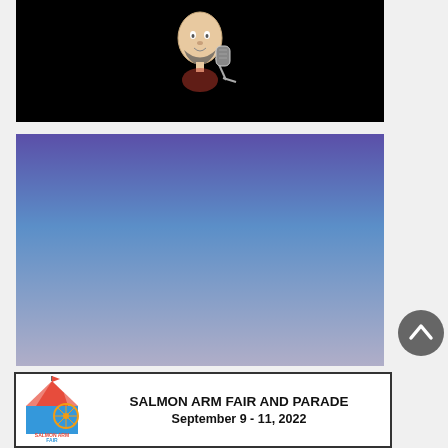[Figure (illustration): Black background with a cartoon illustration of a bald man with a beard speaking into a vintage microphone]
[Figure (illustration): Gradient background fading from purple-blue at the top to light lavender-grey at the bottom, with no visible content]
[Figure (logo): Round dark grey back-to-top arrow button (chevron up icon)]
[Figure (logo): Salmon Arm Fair and Parade banner advertisement with fair logo on left and text: SALMON ARM FAIR AND PARADE September 9 - 11, 2022]